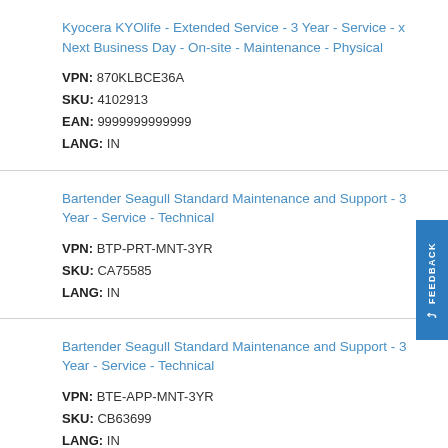Kyocera KYOlife - Extended Service - 3 Year - Service - x Next Business Day - On-site - Maintenance - Physical
VPN: 870KLBCE36A
SKU: 4102913
EAN: 9999999999999
LANG: IN
Bartender Seagull Standard Maintenance and Support - 3 Year - Service - Technical
VPN: BTP-PRT-MNT-3YR
SKU: CA75585
LANG: IN
Bartender Seagull Standard Maintenance and Support - 3 Year - Service - Technical
VPN: BTE-APP-MNT-3YR
SKU: CB63699
LANG: IN